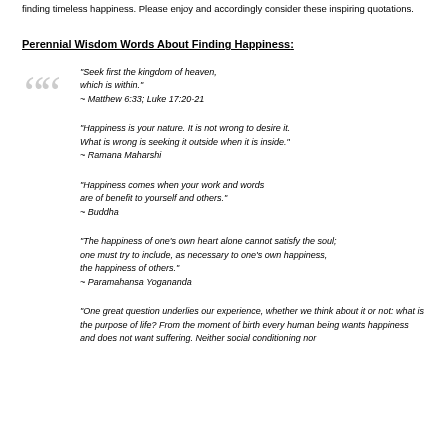finding timeless happiness. Please enjoy and accordingly consider these inspiring quotations.
Perennial Wisdom Words About Finding Happiness:
"Seek first the kingdom of heaven, which is within."
~ Matthew 6:33; Luke 17:20-21
"Happiness is your nature. It is not wrong to desire it. What is wrong is seeking it outside when it is inside."
~ Ramana Maharshi
"Happiness comes when your work and words are of benefit to yourself and others."
~ Buddha
"The happiness of one's own heart alone cannot satisfy the soul; one must try to include, as necessary to one's own happiness, the happiness of others."
~ Paramahansa Yogananda
"One great question underlies our experience, whether we think about it or not: what is the purpose of life? From the moment of birth every human being wants happiness and does not want suffering. Neither social conditioning nor